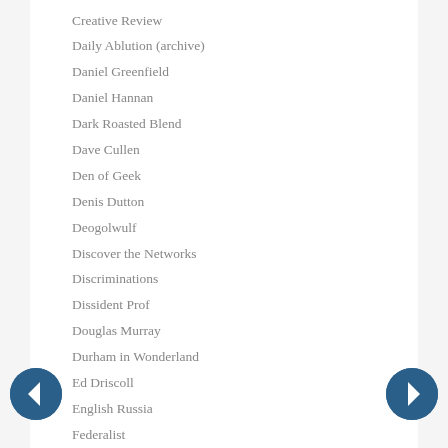Creative Review
Daily Ablution (archive)
Daniel Greenfield
Daniel Hannan
Dark Roasted Blend
Dave Cullen
Den of Geek
Denis Dutton
Deogolwulf
Discover the Networks
Discriminations
Dissident Prof
Douglas Murray
Durham in Wonderland
Ed Driscoll
English Russia
Federalist
Fiamengo Files
FIRE
Franklin Einspruch
FrontPage
Gad Saad
Gas
Gateway Pundit